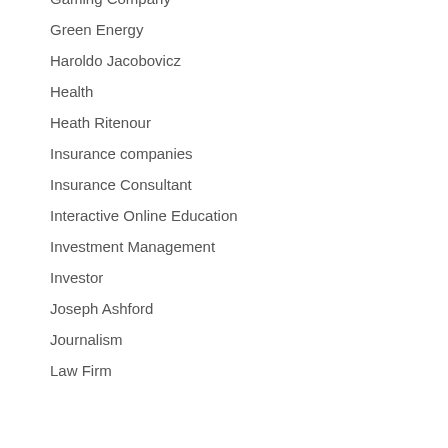Gaming Company
Green Energy
Haroldo Jacobovicz
Health
Heath Ritenour
Insurance companies
Insurance Consultant
Interactive Online Education
Investment Management
Investor
Joseph Ashford
Journalism
Law Firm